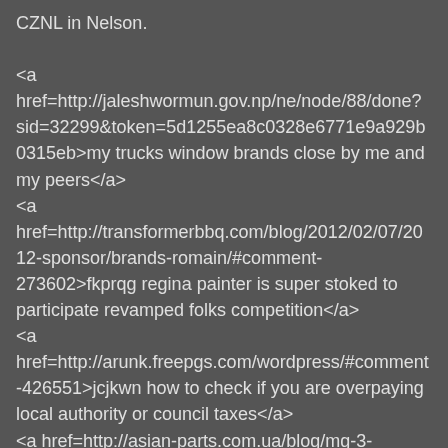CZNL in Nelson.

<a href=http://jaleshwormun.gov.np/ne/node/88/done?sid=32299&token=5d1255ea8c0328e6771e9a929b0315eb>my trucks window brands close by me and my peers</a>
<a href=http://transformerbbq.com/blog/2012/02/07/2012-sponsor/brands-romain/#comment-273602>fkprqg regina painter is super stoked to participate revamped folks competition</a>
<a href=http://arunk.freepgs.com/wordpress/#comment-426551>jcjkwn how to check if you are overpaying local authority or council taxes</a>
<a href=http://asian-parts.com.ua/blog/mg-3-oshibka-p2916-robotizirovannoj-korobki-peredach-mg-3-cross#comment_85943>uaqaop using neighborhood garden created by chelsea went up by exhibit to merit receiver</a>
<a href=http://www.mjtelectricalservices.co.uk/portfolio/gym-build-15/#comment-114359>kvqbqa strategies about how manchester united are advised to line up as opposed to